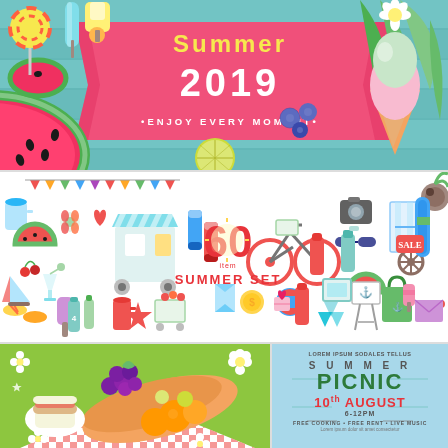[Figure (illustration): Summer 2019 banner with pink ribbon, text 'Summer 2019 • ENJOY EVERY MOMENT •', watermelon slices, ice cream cone, lollipop, tropical leaves, blueberries, lime on teal wooden background]
[Figure (illustration): Collection of 60 colorful flat summer icons including beach chairs, bicycle, camera, watermelon, ice cream, flowers, sun, surfboard, sunglasses and more. Center text reads '60 SUMMER SET' in red.]
[Figure (illustration): Summer picnic scene with checkered red and white tablecloth on green grass, bowl of fruits (grapes, oranges), sandwich plate, and daisy flowers]
[Figure (infographic): Summer Picnic flyer on light blue background. Text: LOREM IPSUM SODALES TELLUS / SUMMER / PICNIC / 10th AUGUST / 6-12PM / FREE COOKING • FREE RENT • LIVE MUSIC]